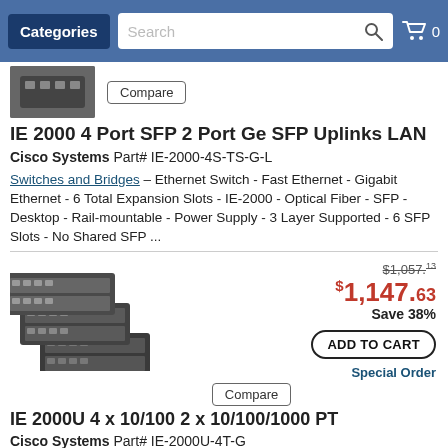Categories | Search | Cart 0
[Figure (photo): Small product image of a Cisco network switch at top]
Compare
IE 2000 4 Port SFP 2 Port Ge SFP Uplinks LAN
Cisco Systems Part# IE-2000-4S-TS-G-L
Switches and Bridges – Ethernet Switch - Fast Ethernet - Gigabit Ethernet - 6 Total Expansion Slots - IE-2000 - Optical Fiber - SFP - Desktop - Rail-mountable - Power Supply - 3 Layer Supported - 6 SFP Slots - No Shared SFP ...
[Figure (photo): Product photo of three Cisco IE 2000 series industrial ethernet switches]
$1,057.13 (strikethrough) $1,147.63 Save 38%
ADD TO CART
Special Order
Compare
IE 2000U 4 x 10/100 2 x 10/100/1000 PT
Cisco Systems Part# IE-2000U-4T-G
Switches and Bridges – TAA Compliant – Ethernet Switch - Fast